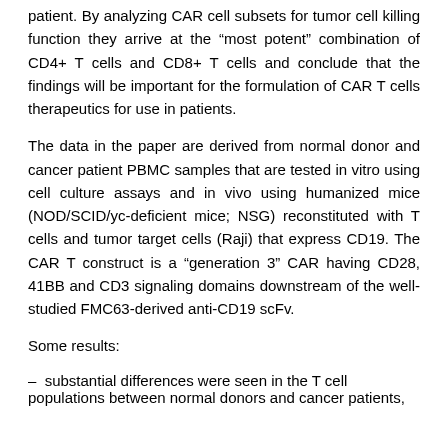patient. By analyzing CAR cell subsets for tumor cell killing function they arrive at the "most potent" combination of CD4+ T cells and CD8+ T cells and conclude that the findings will be important for the formulation of CAR T cells therapeutics for use in patients.
The data in the paper are derived from normal donor and cancer patient PBMC samples that are tested in vitro using cell culture assays and in vivo using humanized mice (NOD/SCID/yc-deficient mice; NSG) reconstituted with T cells and tumor target cells (Raji) that express CD19. The CAR T construct is a "generation 3" CAR having CD28, 41BB and CD3 signaling domains downstream of the well-studied FMC63-derived anti-CD19 scFv.
Some results:
– substantial differences were seen in the T cell populations between normal donors and cancer patients,